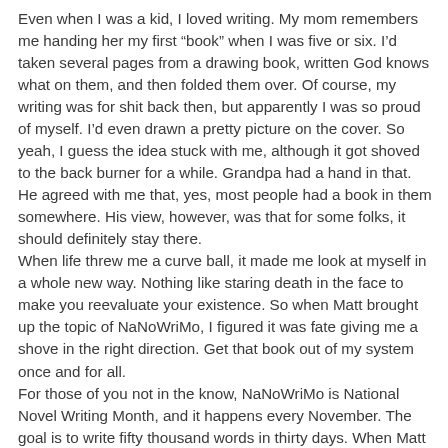Even when I was a kid, I loved writing. My mom remembers me handing her my first “book” when I was five or six. I’d taken several pages from a drawing book, written God knows what on them, and then folded them over. Of course, my writing was for shit back then, but apparently I was so proud of myself. I’d even drawn a pretty picture on the cover. So yeah, I guess the idea stuck with me, although it got shoved to the back burner for a while. Grandpa had a hand in that. He agreed with me that, yes, most people had a book in them somewhere. His view, however, was that for some folks, it should definitely stay there.
When life threw me a curve ball, it made me look at myself in a whole new way. Nothing like staring death in the face to make you reevaluate your existence. So when Matt brought up the topic of NaNoWriMo, I figured it was fate giving me a shove in the right direction. Get that book out of my system once and for all.
For those of you not in the know, NaNoWriMo is National Novel Writing Month, and it happens every November. The goal is to write fifty thousand words in thirty days. When Matt first mentioned it, I’ll be honest: I stared at him and said, “Are you fucking crazy? 50K? Yeah, right.” Then, when I’d